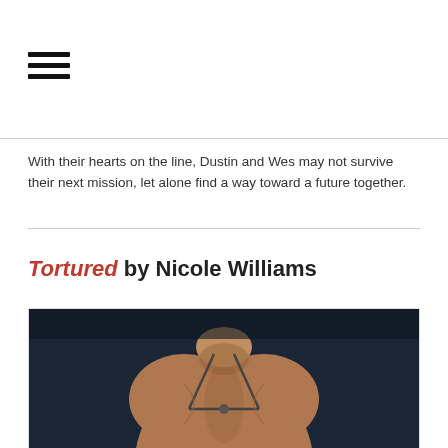[Figure (illustration): Hamburger menu icon with three horizontal black lines]
With their hearts on the line, Dustin and Wes may not survive their next mission, let alone find a way toward a future together.
Tortured by Nicole Williams
[Figure (photo): Book cover photo showing a muscular shirtless man with a necklace against a dark blue background, cropped to show chest and lower face]